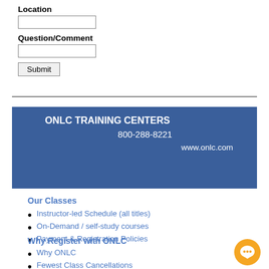Location
Question/Comment
Submit
[Figure (infographic): Blue banner with ONLC Training Centers name, phone number 800-288-8221, and website www.onlc.com]
Our Classes
Instructor-led Schedule (all titles)
On-Demand / self-study courses
Payment & Registration Policies
Why Register with ONLC
Why ONLC
Fewest Class Cancellations
Reasons to Register Early